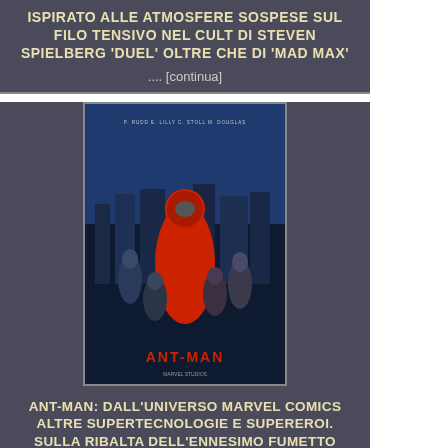ISPIRATO ALLE ATMOSFERE SOSPESE SUL FILO TENSIVO NEL CULT DI STEVEN SPIELBERG 'DUEL' OLTRE CHE DI 'MAD MAX'
.... [continua]
[Figure (photo): Movie poster for Ant-Man showing superhero in red and black suit with cast members in background against city skyline]
ANT-MAN: DALL'UNIVERSO MARVEL COMICS ALTRE SUPERTECNOLOGIE E SUPEREROI. SULLA RIBALTA DELL'ENNESIMO FUMETTO MIGRATO SULLA CELLULOIDE ANCHE MICHAEL DOUGLAS
.... [continua]
[Figure (photo): Black and white movie poster showing a person's face in dramatic lighting]